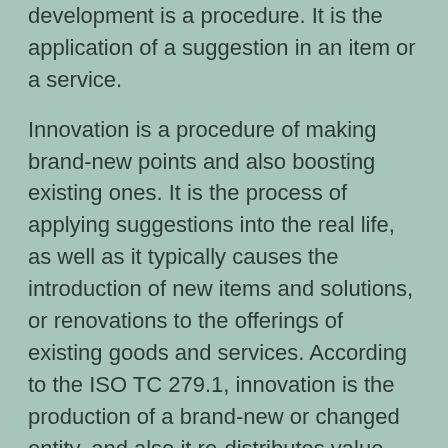development is a procedure. It is the application of a suggestion in an item or a service.
Innovation is a procedure of making brand-new points and also boosting existing ones. It is the process of applying suggestions into the real life, as well as it typically causes the introduction of new items and solutions, or renovations to the offerings of existing goods and services. According to the ISO TC 279.1, innovation is the production of a brand-new or changed entity, and also it re-distributes value. So what makes innovation successful? Here